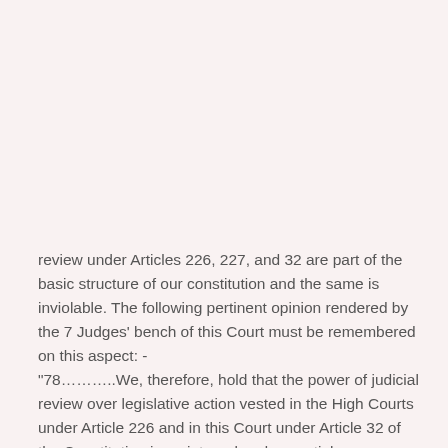review under Articles 226, 227, and 32 are part of the basic structure of our constitution and the same is inviolable. The following pertinent opinion rendered by the 7 Judges' bench of this Court must be remembered on this aspect: -
"78………..We, therefore, hold that the power of judicial review over legislative action vested in the High Courts under Article 226 and in this Court under Article 32 of the Constitution is an integral and essential feature of the Constitution, constituting